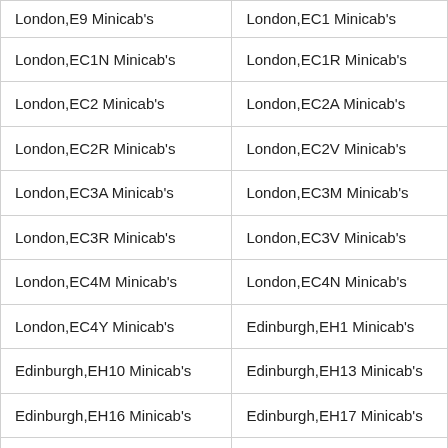| London,E9 Minicab's | London,EC1 Minicab's |
| London,EC1N Minicab's | London,EC1R Minicab's |
| London,EC2 Minicab's | London,EC2A Minicab's |
| London,EC2R Minicab's | London,EC2V Minicab's |
| London,EC3A Minicab's | London,EC3M Minicab's |
| London,EC3R Minicab's | London,EC3V Minicab's |
| London,EC4M Minicab's | London,EC4N Minicab's |
| London,EC4Y Minicab's | Edinburgh,EH1 Minicab's |
| Edinburgh,EH10 Minicab's | Edinburgh,EH13 Minicab's |
| Edinburgh,EH16 Minicab's | Edinburgh,EH17 Minicab's |
| Edinburgh,EH19 Minicab's | Loanhead,EH20 Minicab's |
| Gorebridge,EH23 Minicab's | Rosewell,EH24 Minicab's |
| Kirknewton,EH27 Minicab's | Newbridge,EH28 Minicab's |